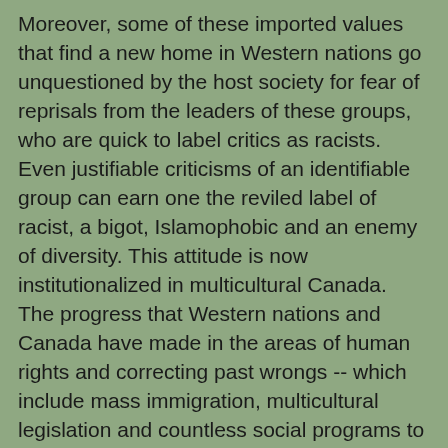Moreover, some of these imported values that find a new home in Western nations go unquestioned by the host society for fear of reprisals from the leaders of these groups, who are quick to label critics as racists. Even justifiable criticisms of an identifiable group can earn one the reviled label of racist, a bigot, Islamophobic and an enemy of diversity. This attitude is now institutionalized in multicultural Canada. The progress that Western nations and Canada have made in the areas of human rights and correcting past wrongs -- which include mass immigration, multicultural legislation and countless social programs to facilitate dialogue and belongingness -- are equally ignored; as is the circumstance that a large segment of cultural groups immigrating to Canada experience far more freedoms and acceptance than in their countries of origin. The Right Honorable Chief Justice Beverley McLachlin highlights the dilemmas faced by judges in a multicultural society. She states that multiculturalism to date has served Canada well, using the benchmark that Canada is a "prosperous and peaceful nation that affords its citizens a high quality of life." Despite this, McLachlin is straightforward